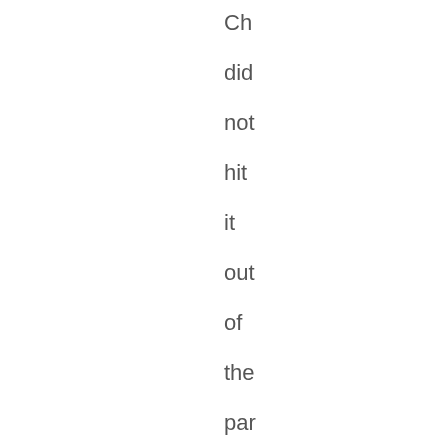Ch did not hit it out of the park but he can close and he had the b